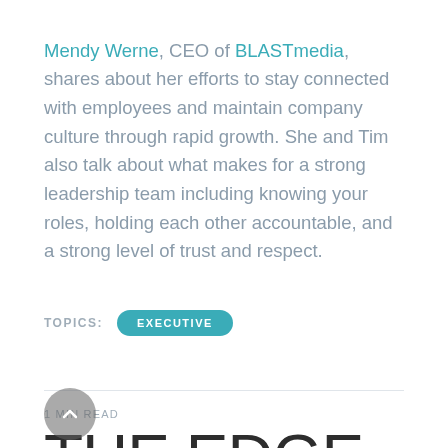Mendy Werne, CEO of BLASTmedia, shares about her efforts to stay connected with employees and maintain company culture through rapid growth. She and Tim also talk about what makes for a strong leadership team including knowing your roles, holding each other accountable, and a strong level of trust and respect.
TOPICS: EXECUTIVE
1 MIN READ
THE EDGE PODCAST: THE